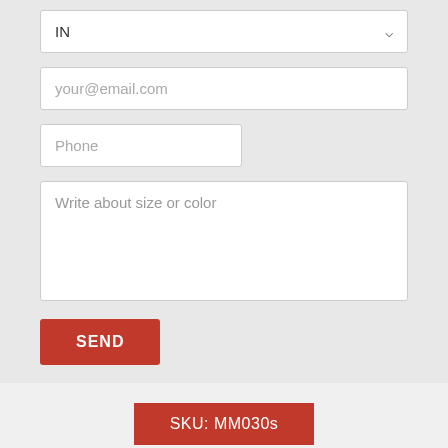[Figure (screenshot): A web form showing a dropdown field with 'IN' selected and a chevron arrow, an email input with placeholder 'your@email.com', a phone input with placeholder 'Phone', a textarea with placeholder 'Write about size or color', and a red SEND button.]
SKU: MM030s
Attributes
Made To Order